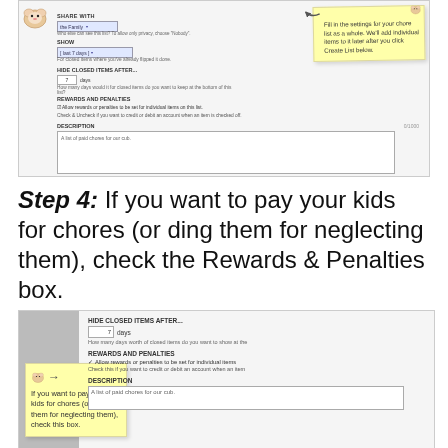[Figure (screenshot): Screenshot of a chore list settings form showing Share With, Show, Hide Closed Items After, Rewards and Penalties, and Description fields. A yellow sticky note in the top-right says 'Fill in the settings for your chore list as a whole. We'll add individual items to it later after you click Create List below.']
Step 4: If you want to pay your kids for chores (or ding them for neglecting them), check the Rewards & Penalties box.
[Figure (screenshot): Zoomed-in screenshot of the Rewards and Penalties section of a chore list settings form, showing Hide Closed Items After field (7 days), Rewards and Penalties checkbox checked, and Description field with 'A list of paid chores for our cub.' A yellow sticky note on the left says 'If you want to pay your kids for chores (or ding them for neglecting them), check this box.' with an arrow pointing right.]